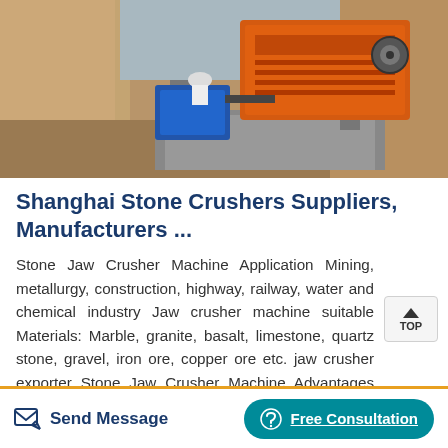[Figure (photo): Construction site photo showing an orange stone crusher machine mounted on concrete blocks in a sandy excavation pit, with a blue motor/component visible.]
Shanghai Stone Crushers Suppliers, Manufacturers ...
Stone Jaw Crusher Machine Application Mining, metallurgy, construction, highway, railway, water and chemical industry Jaw crusher machine suitable Materials: Marble, granite, basalt, limestone, quartz stone, gravel, iron ore, copper ore etc. jaw crusher exporter Stone Jaw Crusher Machine Advantages 1.Good stability, high reliability Moving jaw Assembly adopts the high quality casting ...
Send Message   Free Consultation